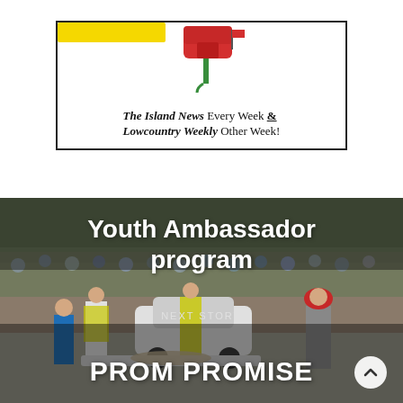[Figure (illustration): Advertisement box with red mailbox illustration and text: 'The Island News Every Week & Lowcountry Weekly Other Week!']
[Figure (photo): Outdoor scene showing first responders and people in high-visibility vests attending to someone on a stretcher near a car, with a crowd in the background. Text overlaid: 'Youth Ambassador program', 'NEXT STORY', 'PROM PROMISE'.]